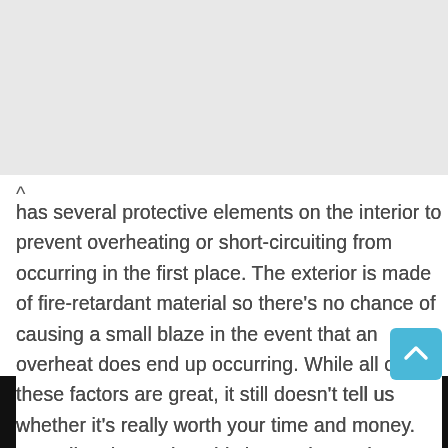has several protective elements on the interior to prevent overheating or short-circuiting from occurring in the first place. The exterior is made of fire-retardant material so there's no chance of causing a small blaze in the event that an overheat does end up occurring. While all of these factors are great, it still doesn't tell us whether it's really worth your time and money. Let's dive deeper into this innovative and advanced charger and see how it measures up.
[Figure (photo): Bottom portion of a product photo showing a teal/white charger device against a dark background]